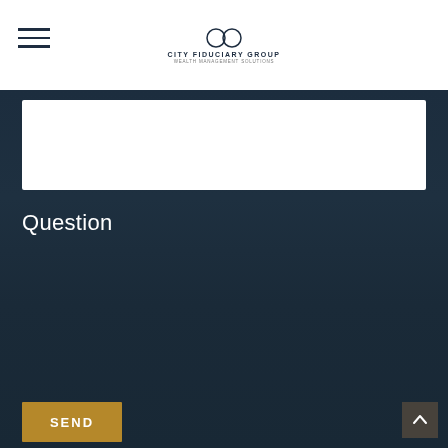City Fiduciary Group
Question
[Figure (screenshot): Web contact form with Question label, a large white textarea input box, a gold SEND button, and a back-to-top arrow button, set against a dark blue nature background with a white navigation header featuring the City Fiduciary Group logo.]